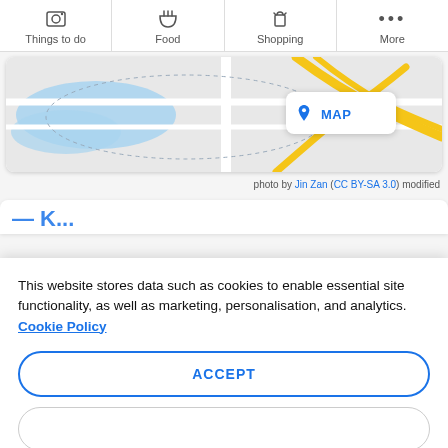Things to do | Food | Shopping | More
[Figure (map): Street map showing roads and a river, with yellow highlighted roads and a MAP button overlay]
photo by Jin Zan (CC BY-SA 3.0) modified
Tok...
This website stores data such as cookies to enable essential site functionality, as well as marketing, personalisation, and analytics. Cookie Policy
ACCEPT